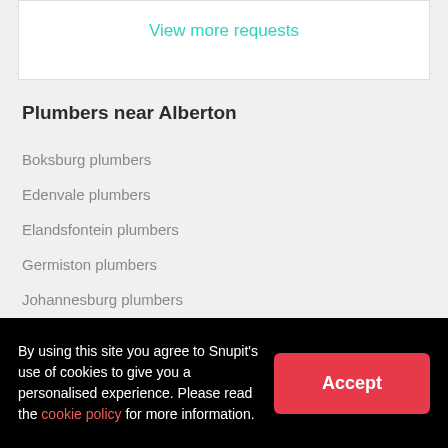View more requests
Plumbers near Alberton
Boksburg plumbers
Edenvale plumbers
Elandsfontein plumbers
Germiston plumbers
Johannesburg plumbers
Katlehong plumbers
By using this site you agree to Snupit's use of cookies to give you a personalised experience. Please read the cookie policy for more information.
Accept